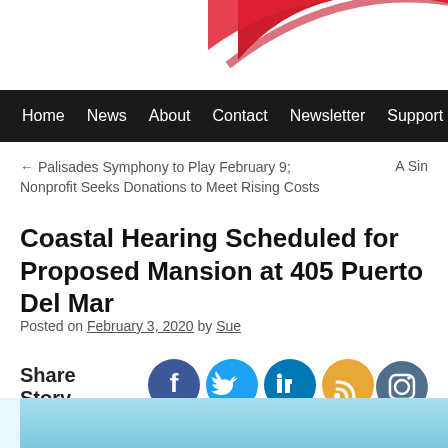[Figure (illustration): Red brush stroke decorative element in top right corner, website logo area]
Home  News  About  Contact  Newsletter  Support by Dona
← Palisades Symphony to Play February 9; Nonprofit Seeks Donations to Meet Rising Costs
A Sin
Coastal Hearing Scheduled for Proposed Mansion at 405 Puerto Del Mar
Posted on February 3, 2020 by Sue
Share Story
[Figure (illustration): Social media share icons: Facebook (dark blue circle), Twitter (light blue circle), LinkedIn (teal circle), RSS (orange circle), Instagram (slate blue circle)]
[Figure (photo): Bottom partial image with light blue sky background]